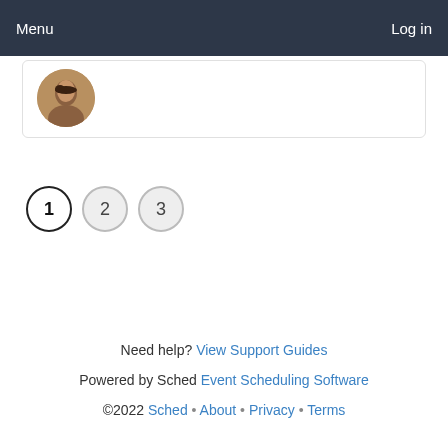Menu   Log in
[Figure (photo): Circular profile photo of a person with dark hair, partially visible at top of a white card with border]
1  2  3  (pagination buttons)
Need help? View Support Guides
Powered by Sched Event Scheduling Software
©2022 Sched • About • Privacy • Terms